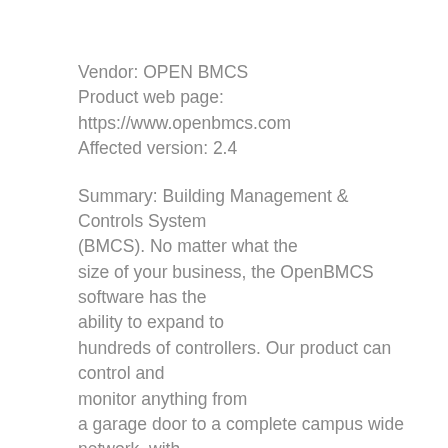Vendor: OPEN BMCS
Product web page: https://www.openbmcs.com
Affected version: 2.4
Summary: Building Management & Controls System (BMCS). No matter what the size of your business, the OpenBMCS software has the ability to expand to hundreds of controllers. Our product can control and monitor anything from a garage door to a complete campus wide network, with everything you need on board.
Desc: The application allows directory listing and information disclosure of some sensitive files that can allow an attacker to leverage the disclosed